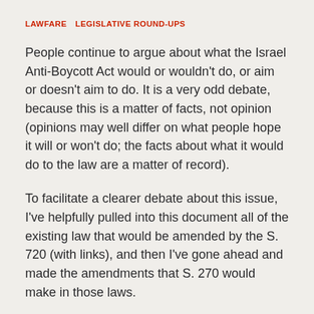LAWFARE   LEGISLATIVE ROUND-UPS
People continue to argue about what the Israel Anti-Boycott Act would or wouldn't do, or aim or doesn't aim to do. It is a very odd debate, because this is a matter of facts, not opinion (opinions may well differ on what people hope it will or won't do; the facts about what it would do to the law are a matter of record).
To facilitate a clearer debate about this issue, I've helpfully pulled into this document all of the existing law that would be amended by the S. 720 (with links), and then I've gone ahead and made the amendments that S. 270 would make in those laws.
January 12, 2018
Israel's Deplorable Boycott